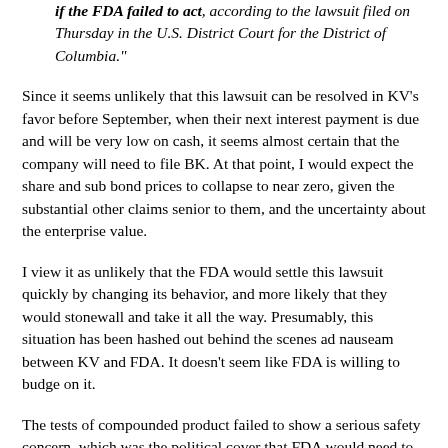if the FDA failed to act, according to the lawsuit filed on Thursday in the U.S. District Court for the District of Columbia."
Since it seems unlikely that this lawsuit can be resolved in KV's favor before September, when their next interest payment is due and will be very low on cash, it seems almost certain that the company will need to file BK. At that point, I would expect the share and sub bond prices to collapse to near zero, given the substantial other claims senior to them, and the uncertainty about the enterprise value.
I view it as unlikely that the FDA would settle this lawsuit quickly by changing its behavior, and more likely that they would stonewall and take it all the way. Presumably, this situation has been hashed out behind the scenes ad nauseam between KV and FDA. It doesn't seem like FDA is willing to budge on it.
The tests of compounded product failed to show a serious safety concern, which was the political cover that FDA would need to upset the Medicare and insurance payers, doctors, and White House.